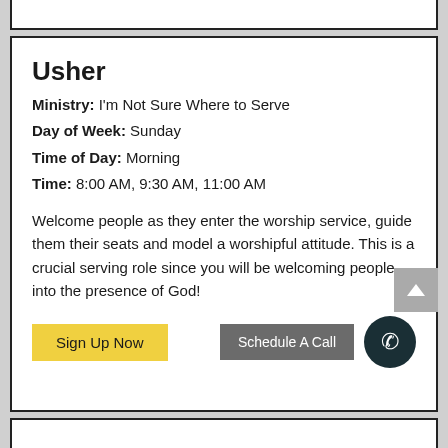Usher
Ministry: I'm Not Sure Where to Serve
Day of Week: Sunday
Time of Day: Morning
Time: 8:00 AM, 9:30 AM, 11:00 AM
Welcome people as they enter the worship service, guide them their seats and model a worshipful attitude. This is a crucial serving role since you will be welcoming people into the presence of God!
Sign Up Now
Schedule A Call